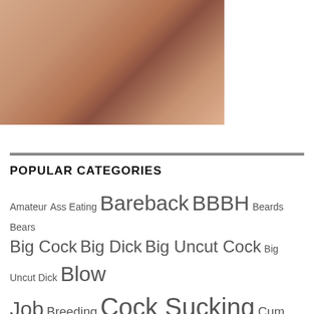[Figure (photo): Adult content photograph partially visible at top of page with website logo overlay]
POPULAR CATEGORIES
Amateur Ass Eating Bareback BBBH Beards Bears Big Cock Big Dick Big Uncut Cock Big Uncut Dick Blow Job Breeding Cock Sucking Cum Cum Eating Cum Facial Cum In Ass Daddy Fucking Group Sex Hairy Hairy Ass Hairy Chest Hairy Cock